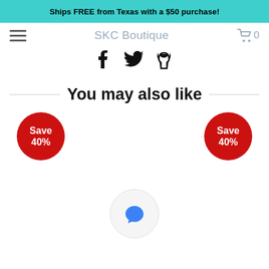Ships FREE from Texas with a $50 purchase!
SKC Boutique
[Figure (screenshot): Navigation bar with hamburger menu, SKC Boutique logo, and cart icon showing 0 items]
[Figure (infographic): Social media icons: Facebook, Twitter, and Fancy (psi symbol)]
You may also like
[Figure (infographic): Two red circular badges each reading 'Save 40%' positioned left and right on the page]
[Figure (screenshot): Blue chat bubble icon inside a circular light gray button]